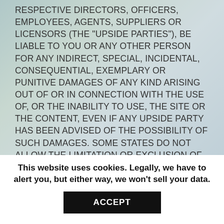RESPECTIVE DIRECTORS, OFFICERS, EMPLOYEES, AGENTS, SUPPLIERS OR LICENSORS (THE "UPSIDE PARTIES"), BE LIABLE TO YOU OR ANY OTHER PERSON FOR ANY INDIRECT, SPECIAL, INCIDENTAL, CONSEQUENTIAL, EXEMPLARY OR PUNITIVE DAMAGES OF ANY KIND ARISING OUT OF OR IN CONNECTION WITH THE USE OF, OR THE INABILITY TO USE, THE SITE OR THE CONTENT, EVEN IF ANY UPSIDE PARTY HAS BEEN ADVISED OF THE POSSIBILITY OF SUCH DAMAGES. SOME STATES DO NOT ALLOW THE LIMITATION OR EXCLUSION OF INCIDENTAL OR CERTAIN OTHER DAMAGES, SO SOME OF THE ABOVE LIMITATIONS MAY NOT APPLY TO YOU. IN NO EVENT WILL THE TOTAL LIABILITY OF ANY UPSIDE PARTY TO YOU FOR ALL DAMAGES
This website uses cookies. Legally, we have to alert you, but either way, we won't sell your data.
ACCEPT